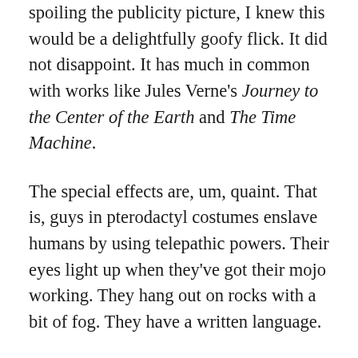spoiling the publicity picture, I knew this would be a delightfully goofy flick. It did not disappoint. It has much in common with works like Jules Verne's Journey to the Center of the Earth and The Time Machine.
The special effects are, um, quaint. That is, guys in pterodactyl costumes enslave humans by using telepathic powers. Their eyes light up when they've got their mojo working. They hang out on rocks with a bit of fog. They have a written language.
Guys in upright rhinoceros fight each other.
Innes falls for one of the slave women, the lovely Dia (Caroline Munro), but he offends her in some complicated culture-specific way, and she won't talk to him anymore. Ah, yes. The course of true love never did run smooth, as if the same held good. English...